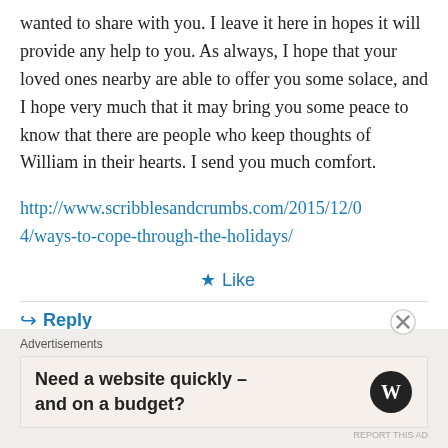wanted to share with you. I leave it here in hopes it will provide any help to you. As always, I hope that your loved ones nearby are able to offer you some solace, and I hope very much that it may bring you some peace to know that there are people who keep thoughts of William in their hearts. I send you much comfort.
http://www.scribblesandcrumbs.com/2015/12/04/ways-to-cope-through-the-holidays/
★ Like
↪ Reply
Advertisements
Need a website quickly – and on a budget?